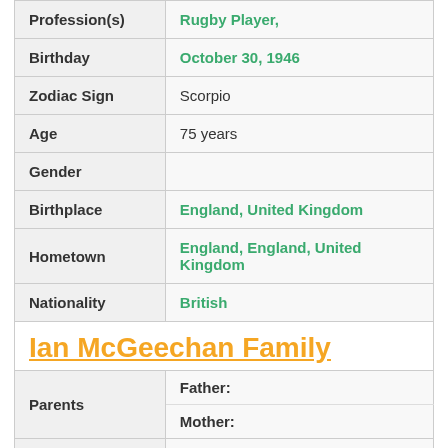| Field | Value |
| --- | --- |
| Profession(s) | Rugby Player, |
| Birthday | October 30, 1946 |
| Zodiac Sign | Scorpio |
| Age | 75 years |
| Gender |  |
| Birthplace | England, United Kingdom |
| Hometown | England, England, United Kingdom |
| Nationality | British |
Ian McGeechan Family
| Field | Value |
| --- | --- |
| Parents | Father:
Mother: |
| Sibling(s) | Brother(s): |